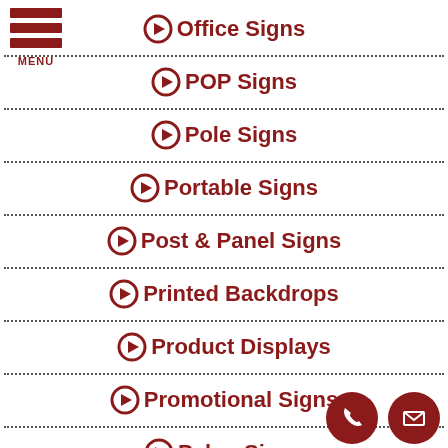[Figure (other): Hamburger menu icon with three dark red horizontal bars and MENU label]
➔ Office Signs
➔ POP Signs
➔ Pole Signs
➔ Portable Signs
➔ Post & Panel Signs
➔ Printed Backdrops
➔ Product Displays
➔ Promotional Signs
➔ Pylon Signs
[Figure (other): Phone icon button (dark red circle with white phone handset) and email icon button (dark red circle with white envelope)]